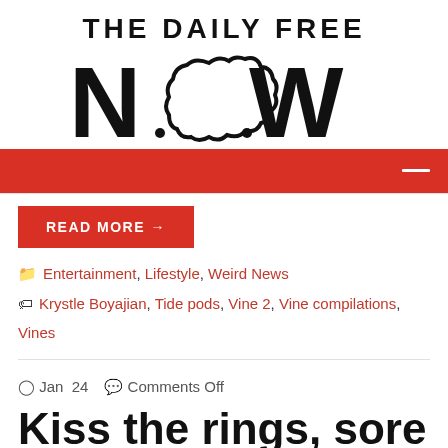[Figure (logo): The Daily Free Now logo — bold black text 'THE DAILY FREE' above large 'NOW' lettering with a cloud shape replacing the 'O']
[Figure (other): Red navigation bar with a white hamburger/menu icon on the right]
READ MORE →
Entertainment, Lifestyle, Weird News
Krystle Boyajian, Tide pods, Vine 2, Vine compilations, Vines
Jan 24   Comments Off
Kiss the rings, sore